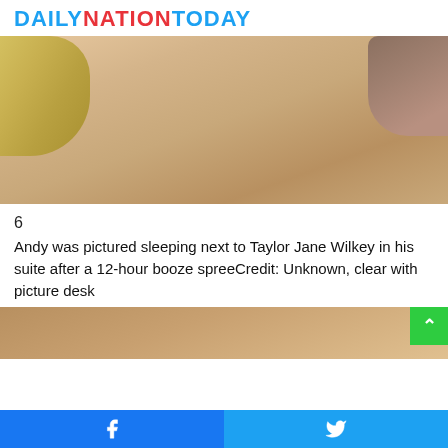DAILYNATIONTODAY
[Figure (photo): Close-up photo of a person sleeping, showing skin/shoulder area with blonde hair visible on left side and a hand on the right side]
6
Andy was pictured sleeping next to Taylor Jane Wilkey in his suite after a 12-hour booze spreeCredit: Unknown, clear with picture desk
[Figure (photo): Partial view of second photo showing blonde hair, brown/tan tones at bottom of page]
Facebook share button | Twitter share button